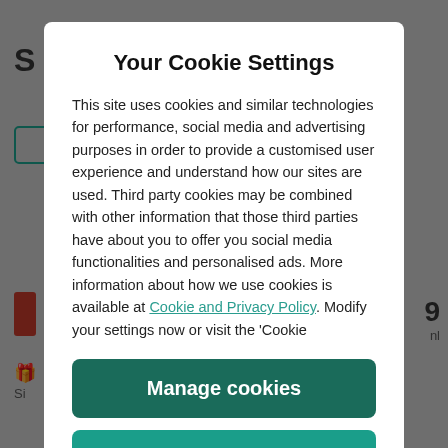Your Cookie Settings
This site uses cookies and similar technologies for performance, social media and advertising purposes in order to provide a customised user experience and understand how our sites are used. Third party cookies may be combined with other information that those third parties have about you to offer you social media functionalities and personalised ads. More information about how we use cookies is available at Cookie and Privacy Policy. Modify your settings now or visit the 'Cookie
Manage cookies
Yes I accept